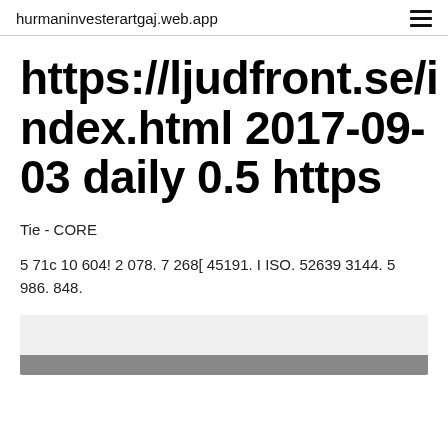hurmaninvesterartgaj.web.app
https://ljudfront.se/index.html 2017-09-03 daily 0.5 https
Tie - CORE
5 71c 10 604! 2 078. 7 268[ 45191. I ISO. 52639 3144. 5 986. 848.
[Figure (photo): Partial image visible at bottom of page, appears to show a photograph partially cropped]